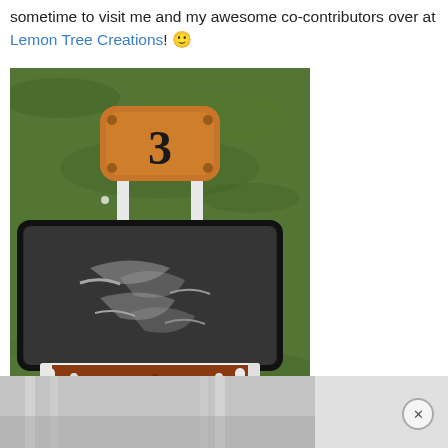sometime to visit me and my awesome co-contributors over at Lemon Tree Creations! 🙂
[Figure (photo): A vintage school desk painted white with a chalkboard-painted desktop surface showing chalk marks, and a wooden chair back with the number 3 burned or painted on it, set on green grass outdoors.]